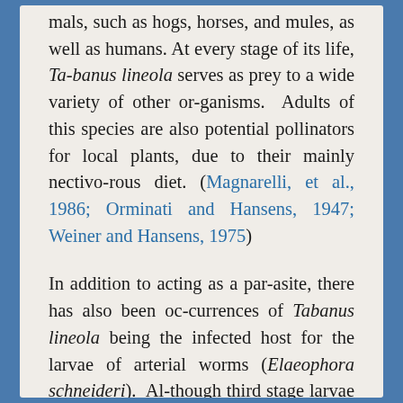mals, such as hogs, horses, and mules, as well as humans. At every stage of its life, Tabanus lineola serves as prey to a wide variety of other organisms. Adults of this species are also potential pollinators for local plants, due to their mainly nectivorous diet. (Magnarelli, et al., 1986; Orminati and Hansens, 1947; Weiner and Hansens, 1975)
In addition to acting as a parasite, there has also been occurrences of Tabanus lineola being the infected host for the larvae of arterial worms (Elaeophora schneideri). Although third stage larvae of